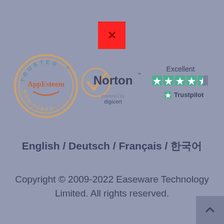[Figure (logo): Red broken image placeholder box with X]
[Figure (logo): AppEsteem Trusted Monitored badge logo]
[Figure (logo): Norton powered by Digicert logo with checkmark]
[Figure (logo): Trustpilot Excellent rating with 4.5 stars]
English / Deutsch / Français / 한국어
Copyright © 2009-2022 Easeware Technology Limited. All rights reserved.